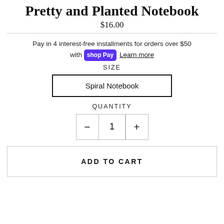Pretty and Planted Notebook
$16.00
Pay in 4 interest-free installments for orders over $50 with shop Pay Learn more
SIZE
Spiral Notebook
QUANTITY
- 1 +
ADD TO CART